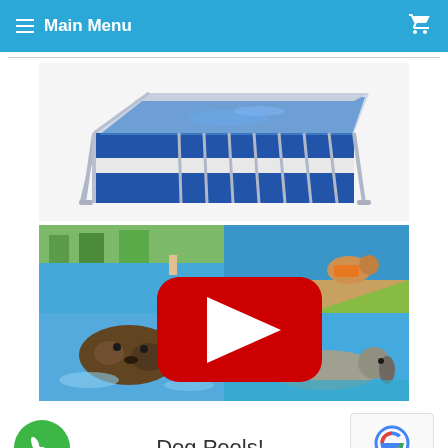Main Menu
[Figure (photo): Above-ground rectangular frame swimming pool with blue liner and grey metal frame structure, viewed from an angle]
[Figure (photo): YouTube video thumbnail collage showing dogs swimming in pools, with a large red YouTube play button overlay in the center]
Dog Pools!